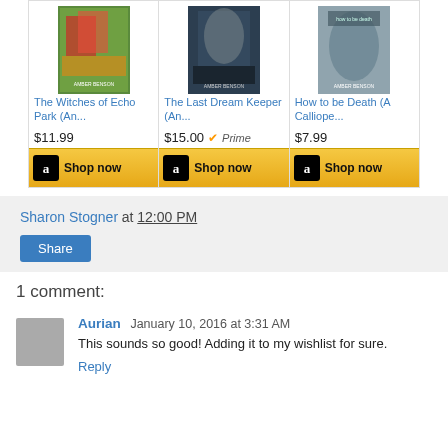[Figure (screenshot): Amazon product widget showing three books: 'The Witches of Echo Park (An...' at $11.99, 'The Last Dream Keeper (An...' at $15.00 with Prime badge, and 'How to be Death (A Calliope...' at $7.99, each with a Shop now button.]
Sharon Stogner at 12:00 PM
Share
1 comment:
Aurian January 10, 2016 at 3:31 AM
This sounds so good! Adding it to my wishlist for sure.
Reply